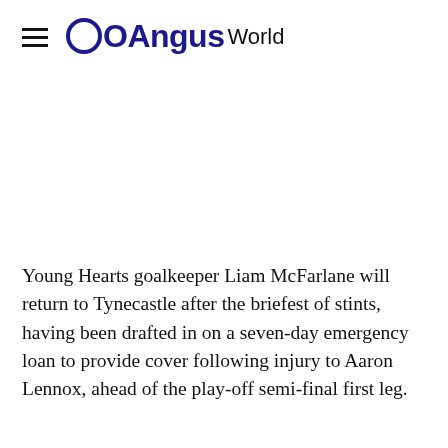OAngus World
Young Hearts goalkeeper Liam McFarlane will return to Tynecastle after the briefest of stints, having been drafted in on a seven-day emergency loan to provide cover following injury to Aaron Lennox, ahead of the play-off semi-final first leg.